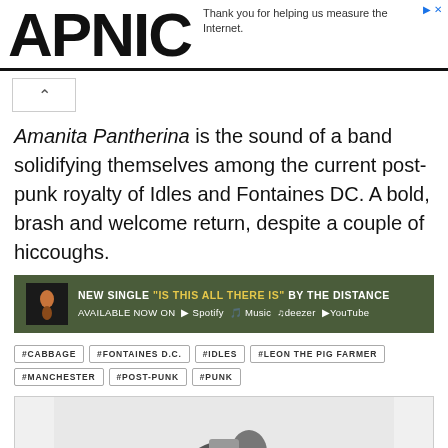APNIC
Thank you for helping us measure the Internet.
Amanita Pantherina is the sound of a band solidifying themselves among the current post-punk royalty of Idles and Fontaines DC. A bold, brash and welcome return, despite a couple of hiccoughs.
[Figure (infographic): Advertisement banner: NEW SINGLE "IS THIS ALL THERE IS" BY THE DISTANCE AVAILABLE NOW ON Spotify Apple Music deezer YouTube]
#CABBAGE
#FONTAINES D.C.
#IDLES
#LEON THE PIG FARMER
#MANCHESTER
#POST-PUNK
#PUNK
[Figure (photo): Partial photo of a band/musician, bottom of page]